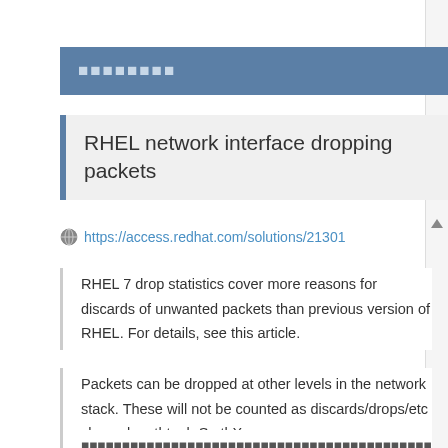▪▪▪▪▪▪▪▪
RHEL network interface dropping packets
https://access.redhat.com/solutions/21301
RHEL 7 drop statistics cover more reasons for discards of unwanted packets than previous version of RHEL. For details, see this article.
Packets can be dropped at other levels in the network stack. These will not be counted as discards/drops/etc shown by ethtool -S ethX.
▪▪▪▪▪▪▪▪▪▪▪▪▪▪▪▪▪▪▪▪▪▪▪▪▪▪▪▪▪▪▪▪▪▪▪▪▪▪▪▪▪▪▪▪▪▪▪▪▪ethtool -S